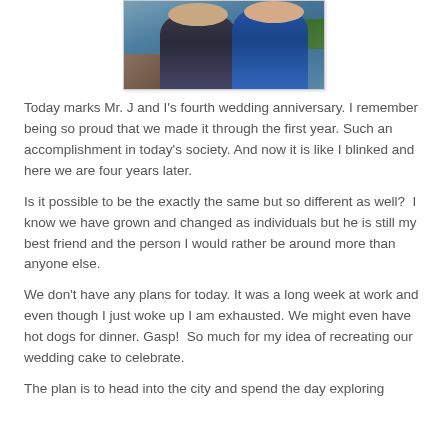[Figure (photo): Photo of two people (a couple) standing together outdoors near rocky coastline with blue water and greenery in background. One person wears a dark t-shirt, the other wears a blue shirt.]
Today marks Mr. J and I's fourth wedding anniversary. I remember being so proud that we made it through the first year. Such an accomplishment in today's society. And now it is like I blinked and here we are four years later.
Is it possible to be the exactly the same but so different as well?  I know we have grown and changed as individuals but he is still my best friend and the person I would rather be around more than anyone else.
We don't have any plans for today. It was a long week at work and even though I just woke up I am exhausted. We might even have hot dogs for dinner. Gasp!  So much for my idea of recreating our wedding cake to celebrate.
The plan is to head into the city and spend the day exploring